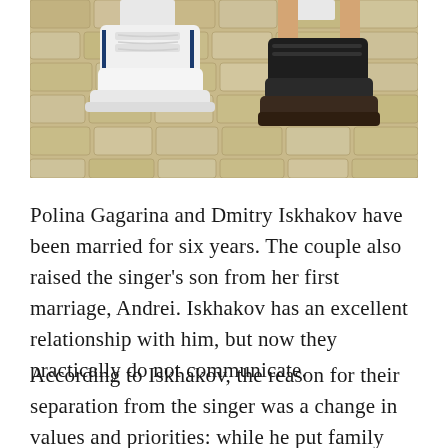[Figure (photo): Photo showing the lower legs and feet of two people standing on a brick/cobblestone pavement. The person on the left wears white high-top sneakers with blue accents and white socks. The person on the right wears black platform sneakers with white socks and bare legs.]
Polina Gagarina and Dmitry Iskhakov have been married for six years. The couple also raised the singer's son from her first marriage, Andrei. Iskhakov has an excellent relationship with him, but now they practically do not communicate.
According to Iskhakov, the reason for their separation from the singer was a change in values and priorities: while he put family first,